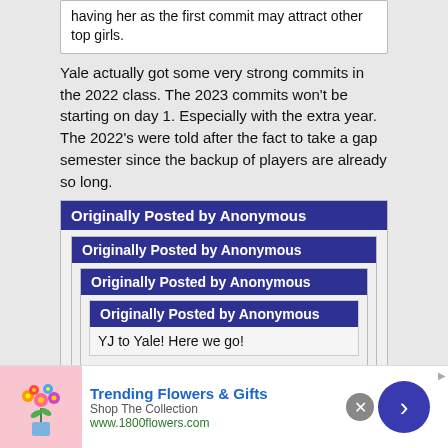having her as the first commit may attract other top girls.
Yale actually got some very strong commits in the 2022 class. The 2023 commits won't be starting on day 1. Especially with the extra year. The 2022's were told after the fact to take a gap semester since the backup of players are already so long.
Originally Posted by Anonymous
Originally Posted by Anonymous
Originally Posted by Anonymous
Originally Posted by Anonymous
YJ to Yale! Here we go!
She's the first Long Island D1 girl commit for
[Figure (screenshot): Advertisement banner for Trending Flowers & Gifts from 1800flowers.com]